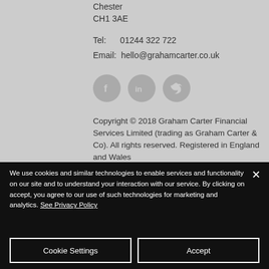Chester
CH1 3AE
Tel:   01244 322 722
Email:  hello@grahamcarter.co.uk
[Figure (illustration): Three circular social media icons: Facebook (f), LinkedIn (in), Twitter (bird)]
Copyright © 2018 Graham Carter Financial Services Limited (trading as Graham Carter & Co). All rights reserved. Registered in England and Wales
We use cookies and similar technologies to enable services and functionality on our site and to understand your interaction with our service. By clicking on accept, you agree to our use of such technologies for marketing and analytics. See Privacy Policy
Cookie Settings
Accept